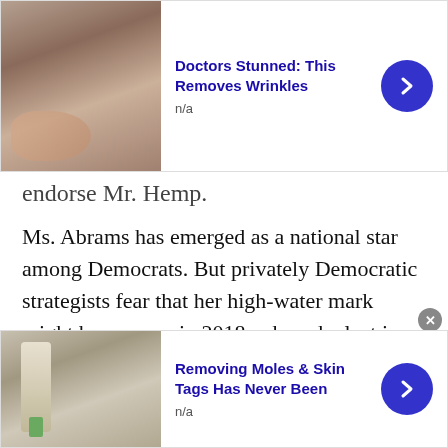[Figure (other): Advertisement banner at top: skin/face close-up image with title 'Doctors Stunned: This Removes Wrinkles', n/a label, blue arrow button, close button]
endorse Mr. Hemp.
Ms. Abrams has emerged as a national star among Democrats. But privately Democratic strategists fear that her high-water mark might have come in 2018, when she lost in a Democratic wave year.
Most polling shows a close race for governor and Senate, with a slight Republican advantage.
As general-election matchups come into focus, Mr. Biden's advisers argue that there is still time to crystallize a clear choice between the president
[Figure (other): Advertisement banner at bottom: person with cotton swab near face, title 'Removing Moles & Skin Tags Has Never Been', n/a label, blue arrow button, close button]